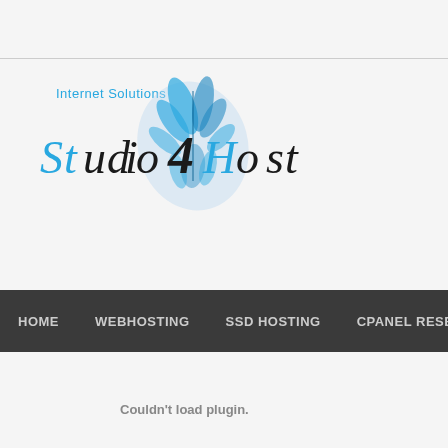[Figure (logo): Studio4Host logo with 'Internet Solutions' text above and a stylized blue leaf/feather graphic, text reads 'STUDIO 4 HOST' in blue and black mixed styling]
HOME   WEBHOSTING   SSD HOSTING   CPANEL RESE...
Couldn't load plugin.